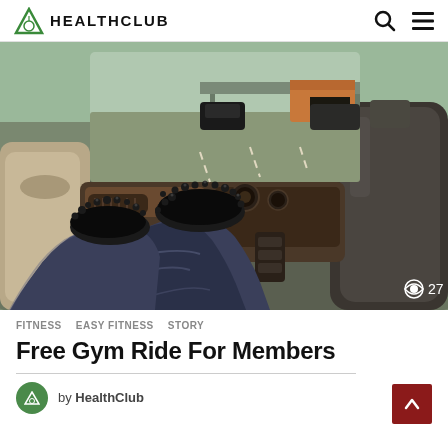HEALTHCLUB
[Figure (photo): Interior view from back seat of a luxury car on a motorway, person's legs in black jeans and spiked boots resting on dashboard, highway traffic visible through windscreen]
👁 27
FITNESS   EASY FITNESS   STORY
Free Gym Ride For Members
by HealthChub